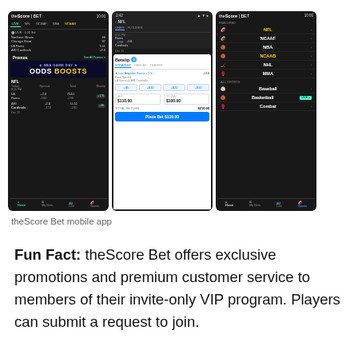[Figure (screenshot): Three screenshots of theScore Bet mobile app side by side. Left screenshot shows the home screen with live scores, Promos section with 'NBA Game Day Odds Boosts' banner, and NFL betting lines for LA Rams vs ARI Cardinals. Middle screenshot shows a bet slip with Los Angeles Rams +2.9 selected, odds boost buttons (+$5, +$10, +$20, +$50), bet amount $110.00, to win $100.00, total return $210.00, and 'Place Bet $110.00' button. Right screenshot shows the Sports navigation menu with NFL, NCAAF, NBA, NCAAB, NHL, MMA, Baseball, Basketball (LIVE), and Combat listed.]
theScore Bet mobile app
Fun Fact: theScore Bet offers exclusive promotions and premium customer service to members of their invite-only VIP program. Players can submit a request to join.